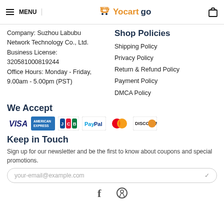MENU | Yocartgo | [cart icon]
Company: Suzhou Labubu Network Technology Co., Ltd.
Business License: 320581000819244
Office Hours: Monday - Friday, 9.00am - 5.00pm (PST)
Shop Policies
Shipping Policy
Privacy Policy
Return & Refund Policy
Payment Policy
DMCA Policy
We Accept
[Figure (infographic): Payment method logos: VISA, American Express, JCB, PayPal, Mastercard, Discover]
Keep in Touch
Sign up for our newsletter and be the first to know about coupons and special promotions.
your-email@example.com
[Figure (infographic): Social media icons: Facebook (f) and Pinterest]